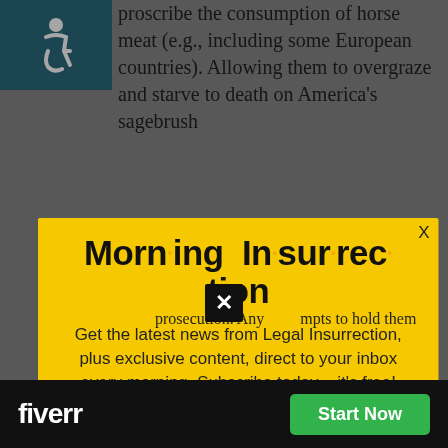[Figure (infographic): Accessibility icon (wheelchair user) in teal square]
proscribe the consumption of horse meat (e.g., including some European countries). Allowing them to overgraze and starve to death on America's sagebrush
[Figure (infographic): Morning Insurrection newsletter popup modal with yellow background. Title: 'Morn·ing In·sur·rec·tion'. Body text: 'Get the latest news from Legal Insurrection, plus exclusive content, direct to your inbox every morning. Subscribe today – it's free!' Button: 'JOIN NOW']
prosecution. Any attempts to hold them
[Figure (infographic): Fiverr advertisement bar at bottom with 'fiverr' logo and 'Start Now' green button]